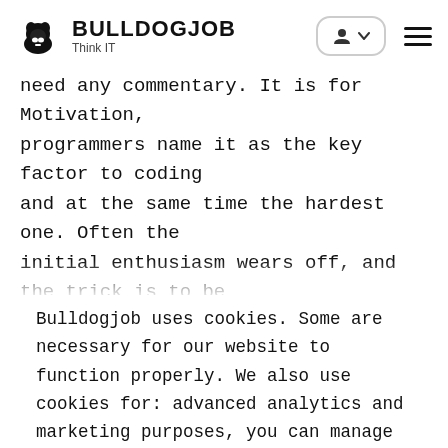BULLDOGJOB Think IT
need any commentary. It is for Motivation, programmers name it as the key factor to coding and at the same time the hardest one. Often the initial enthusiasm wears off, and the trick is to be able to motivate oneself regularly. Everyone has
Bulldogjob uses cookies. Some are necessary for our website to function properly. We also use cookies for: advanced analytics and marketing purposes, you can manage the use of those. You can read more about cookies in our Privacy Policy.
Change settings
Accept all cookies